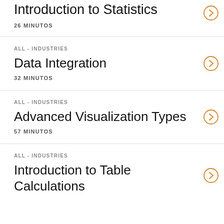Introduction to Statistics
26 MINUTOS
ALL - INDUSTRIES
Data Integration
32 MINUTOS
ALL - INDUSTRIES
Advanced Visualization Types
57 MINUTOS
ALL - INDUSTRIES
Introduction to Table Calculations